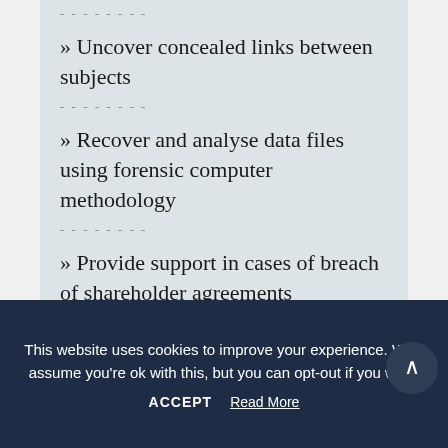» Uncover concealed links between subjects
» Recover and analyse data files using forensic computer methodology
» Provide support in cases of breach of shareholder agreements
This website uses cookies to improve your experience. We'll assume you're ok with this, but you can opt-out if you wish.
ACCEPT   Read More